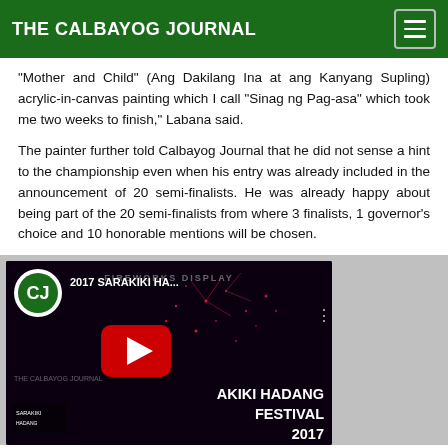THE CALBAYOG JOURNAL
“Mother and Child” (Ang Dakilang Ina at ang Kanyang Supling) acrylic-in-canvas painting which I call "Sinag ng Pag-asa" which took me two weeks to finish,” Labana said.
The painter further told Calbayog Journal that he did not sense a hint to the championship even when his entry was already included in the announcement of 20 semi-finalists. He was already happy about being part of the 20 semi-finalists from where 3 finalists, 1 governor’s choice and 10 honorable mentions will be chosen.
[Figure (screenshot): YouTube video thumbnail for '2017 SARAKIKI HA...' from The Calbayog Journal channel, showing fireworks display and AKIKI HADANG FESTIVAL 2017 text overlay with a red play button.]